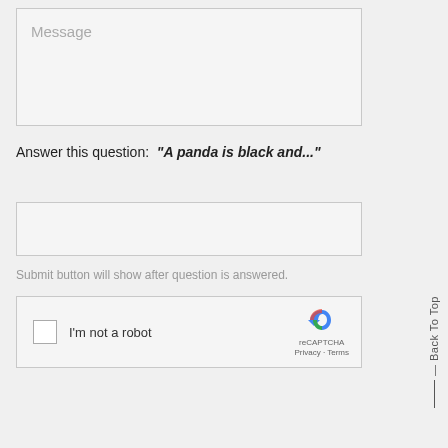[Figure (screenshot): Message textarea input box with placeholder text 'Message']
Answer this question:  "A panda is black and..."
[Figure (screenshot): Answer input text box, empty]
Submit button will show after question is answered.
[Figure (screenshot): reCAPTCHA widget with checkbox labeled 'I'm not a robot' and reCAPTCHA logo with Privacy and Terms links]
Back To Top